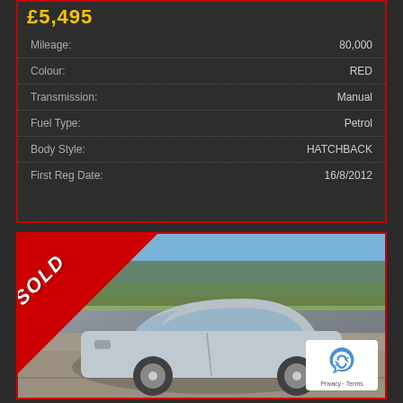£5,495
| Attribute | Value |
| --- | --- |
| Mileage: | 80,000 |
| Colour: | RED |
| Transmission: | Manual |
| Fuel Type: | Petrol |
| Body Style: | HATCHBACK |
| First Reg Date: | 16/8/2012 |
[Figure (photo): Silver Ford Focus hatchback parked outdoors with a red SOLD banner triangle in the top-left corner and a reCAPTCHA badge in the bottom-right corner]